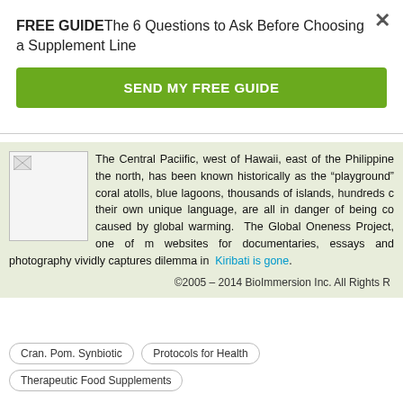FREE GUIDEThe 6 Questions to Ask Before Choosing a Supplement Line
SEND MY FREE GUIDE
The Central Paciific, west of Hawaii, east of the Philippine the north, has been known historically as the "playground" coral atolls, blue lagoons, thousands of islands, hundreds c their own unique language, are all in danger of being co caused by global warming. The Global Oneness Project, one of m websites for documentaries, essays and photography vividly captures dilemma in Kiribati is gone.
©2005 – 2014 BioImmersion Inc. All Rights R
Cran. Pom. Synbiotic
Protocols for Health
Therapeutic Food Supplements